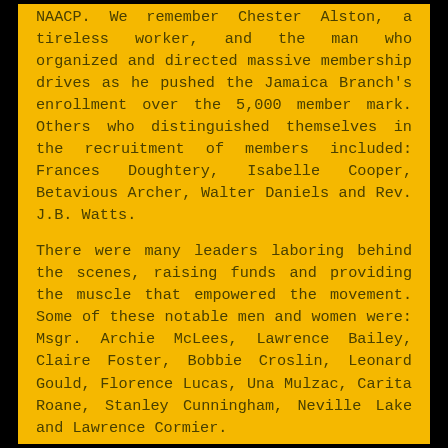NAACP. We remember Chester Alston, a tireless worker, and the man who organized and directed massive membership drives as he pushed the Jamaica Branch's enrollment over the 5,000 member mark. Others who distinguished themselves in the recruitment of members included: Frances Doughtery, Isabelle Cooper, Betavious Archer, Walter Daniels and Rev. J.B. Watts.
There were many leaders laboring behind the scenes, raising funds and providing the muscle that empowered the movement. Some of these notable men and women were: Msgr. Archie McLees, Lawrence Bailey, Claire Foster, Bobbie Croslin, Leonard Gould, Florence Lucas, Una Mulzac, Carita Roane, Stanley Cunningham, Neville Lake and Lawrence Cormier.
Recent Civil Rights Activities
The Jamaica Branch is heavily involved in combating police brutality. It created a program that assists the community to